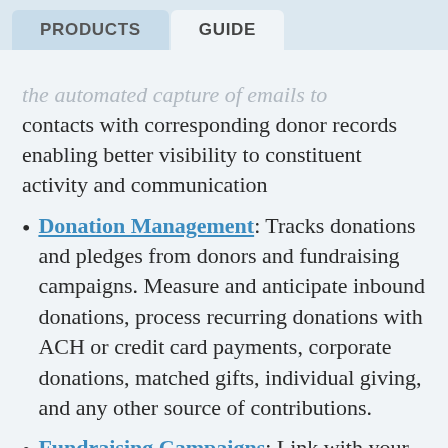PRODUCTS | GUIDE
the automated capture of emails to contacts with corresponding donor records enabling better visibility to constituent activity and communication
Donation Management: Tracks donations and pledges from donors and fundraising campaigns. Measure and anticipate inbound donations, process recurring donations with ACH or credit card payments, corporate donations, matched gifts, individual giving, and any other source of contributions.
Fundraising Campaigns: Link with your company fundraising software or website to accept pledges and donations online. Allows donors to register for fundraising